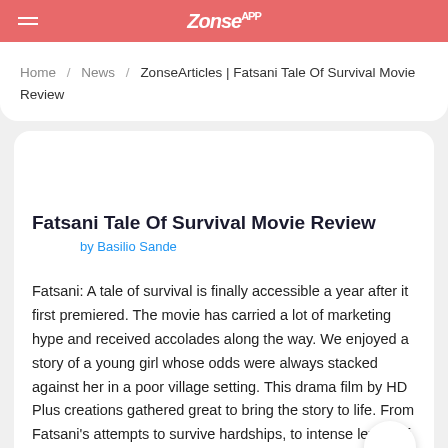Zonse App
Home / News / ZonseArticles | Fatsani Tale Of Survival Movie Review
Fatsani Tale Of Survival Movie Review
by Basilio Sande
Fatsani: A tale of survival is finally accessible a year after it first premiered. The movie has carried a lot of marketing hype and received accolades along the way. We enjoyed a story of a young girl whose odds were always stacked against her in a poor village setting. This drama film by HD Plus creations gathered great to bring the story to life. From Fatsani's attempts to survive hardships, to intense levels of corruption and abuse from her